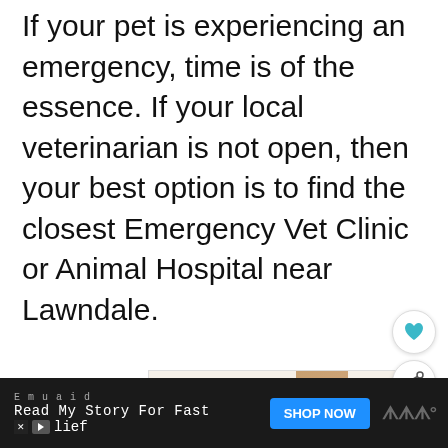If your pet is experiencing an emergency, time is of the essence. If your local veterinarian is not open, then your best option is to find the closest Emergency Vet Clinic or Animal Hospital near Lawndale.
[Figure (screenshot): Advertisement banner for 'Cookies for Kids Cancer' charity. Text reads 'I Bake COOKIES For A CURE' with a badge 'Heldora, 11 Cancer Survivor' and 'So can you!' text alongside a green circle logo.]
[Figure (screenshot): Floating action button with heart icon (favorite/save)]
[Figure (screenshot): Floating action button with share icon]
[Figure (screenshot): Bottom advertisement bar for Emuaid product. Text: 'Emuaid', 'Read My Story For Fast', 'lief' with SHOP NOW button and brand logo.]